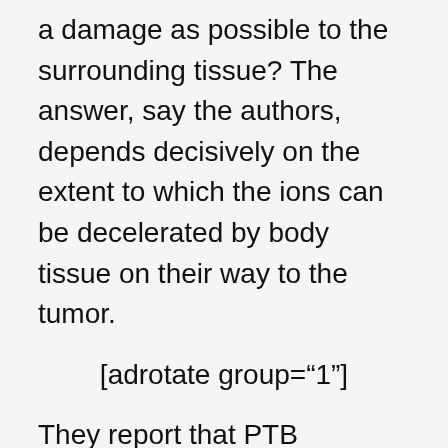a damage as possible to the surrounding tissue? The answer, say the authors, depends decisively on the extent to which the ions can be decelerated by body tissue on their way to the tumor.
[adrotate group="1"]
They report that PTB scientists have established an experiment for the more exact determination of the stopping power of tissue for carbon ions in the therapeutically relevant area which is so far unique worldwide. Although the measurement data so far available must still become more exact, the following